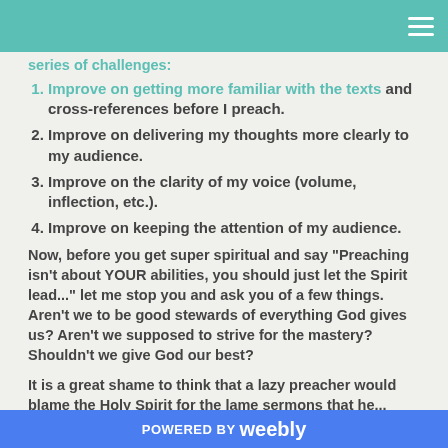series of challenges:
Improve on getting more familiar with the texts and cross-references before I preach.
Improve on delivering my thoughts more clearly to my audience.
Improve on the clarity of my voice (volume, inflection, etc.).
Improve on keeping the attention of my audience.
Now, before you get super spiritual and say "Preaching isn't about YOUR abilities, you should just let the Spirit lead..." let me stop you and ask you of a few things. Aren't we to be good stewards of everything God gives us? Aren't we supposed to strive for the mastery? Shouldn't we give God our best?
It is a great shame to think that a lazy preacher would blame the Holy Spirit for the lame sermons that he...
POWERED BY weebly